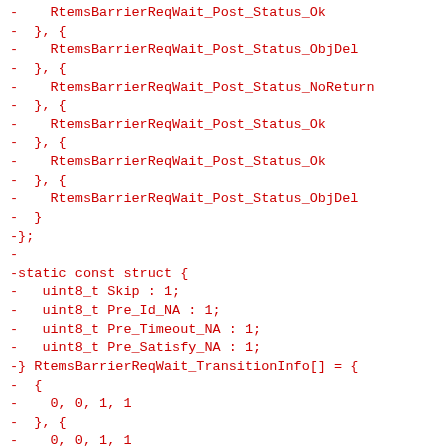- RtemsBarrierReqWait_Post_Status_Ok
-  }, {
-    RtemsBarrierReqWait_Post_Status_ObjDel
-  }, {
-    RtemsBarrierReqWait_Post_Status_NoReturn
-  }, {
-    RtemsBarrierReqWait_Post_Status_Ok
-  }, {
-    RtemsBarrierReqWait_Post_Status_Ok
-  }, {
-    RtemsBarrierReqWait_Post_Status_ObjDel
-  }
-};
-
-static const struct {
-   uint8_t Skip : 1;
-   uint8_t Pre_Id_NA : 1;
-   uint8_t Pre_Timeout_NA : 1;
-   uint8_t Pre_Satisfy_NA : 1;
-} RtemsBarrierReqWait_TransitionInfo[] = {
-  {
-    0, 0, 1, 1
-  }, {
-    0, 0, 1, 1
-  }, {
-    0, 0, 1, 1
-  }, {
-    0, 0, 1, 1
-  }, {
-    0, 0, 1, 1
-  }, {